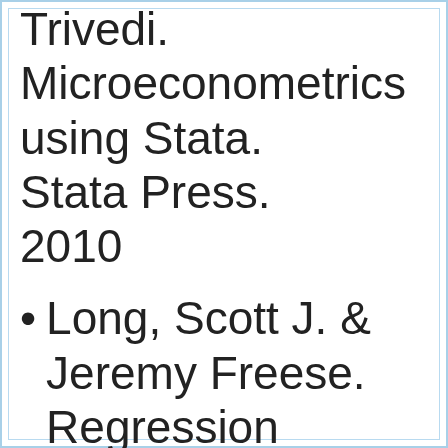Trivedi. Microeconometrics using Stata. Stata Press. 2010
Long, Scott J. & Jeremy Freese. Regression